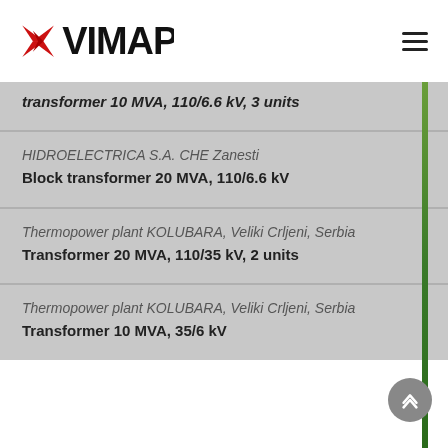VIMAP
transformer 10 MVA, 110/6.6 kV, 3 units
HIDROELECTRICA S.A. CHE Zanesti
Block transformer 20 MVA, 110/6.6 kV
Thermopower plant KOLUBARA, Veliki Crljeni, Serbia
Transformer 20 MVA, 110/35 kV, 2 units
Thermopower plant KOLUBARA, Veliki Crljeni, Serbia
Transformer 10 MVA, 35/6 kV